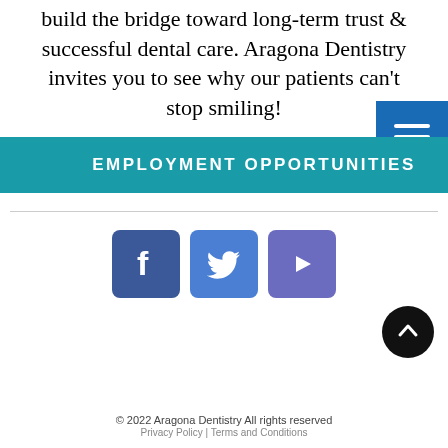build the bridge toward long-term trust & successful dental care. Aragona Dentistry invites you to see why our patients can't stop smiling!
EMPLOYMENT OPPORTUNITIES
[Figure (illustration): Facebook, Twitter, and YouTube social media icon buttons in blue/purple rounded squares]
© 2022 Aragona Dentistry All rights reserved